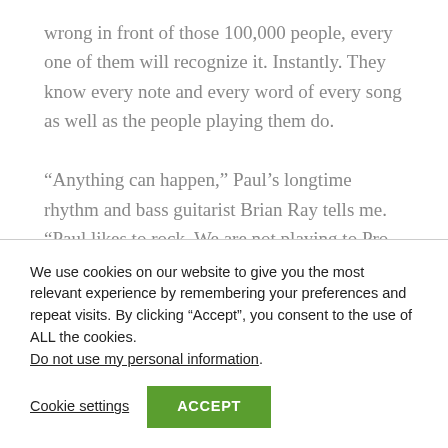wrong in front of those 100,000 people, every one of them will recognize it. Instantly. They know every note and every word of every song as well as the people playing them do.

“Anything can happen,” Paul’s longtime rhythm and bass guitarist Brian Ray tells me. “Paul likes to rock. We are not playing to Pro Tools, pre-taped material, or time references. We’re
We use cookies on our website to give you the most relevant experience by remembering your preferences and repeat visits. By clicking “Accept”, you consent to the use of ALL the cookies.
Do not use my personal information.
Cookie settings
ACCEPT